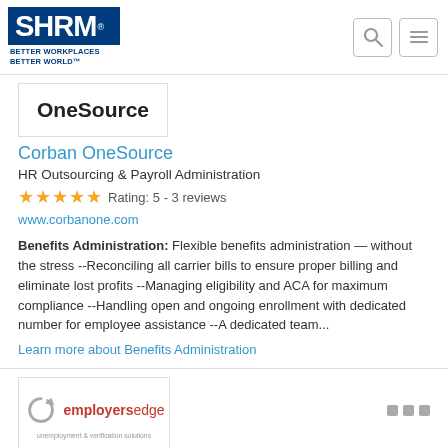[Figure (logo): SHRM logo with blue background, text SHRM and tagline BETTER WORKPLACES BETTER WORLD]
[Figure (logo): OneSource logo in black bold text inside a bordered box]
Corban OneSource
HR Outsourcing & Payroll Administration
★★★★★ Rating: 5 - 3 reviews
www.corbanone.com
Benefits Administration: Flexible benefits administration — without the stress --Reconciling all carrier bills to ensure proper billing and eliminate lost profits --Managing eligibility and ACA for maximum compliance --Handling open and ongoing enrollment with dedicated number for employee assistance --A dedicated team...
Learn more about Benefits Administration
[Figure (logo): EmployersEdge logo with circular arrow icon and red text, unemployment & verification solutions tagline]